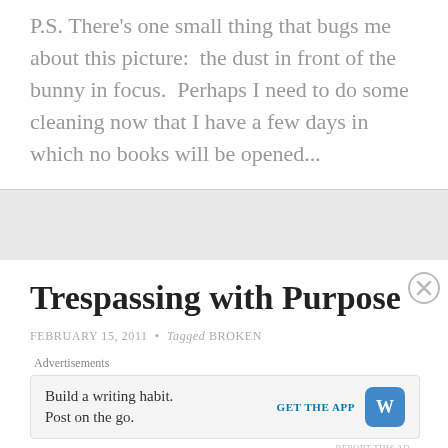P.S. There's one small thing that bugs me about this picture:  the dust in front of the bunny in focus.  Perhaps I need to do some cleaning now that I have a few days in which no books will be opened...
Trespassing with Purpose
FEBRUARY 15, 2011 · Tagged BROKEN
Advertisements Build a writing habit. Post on the go. GET THE APP